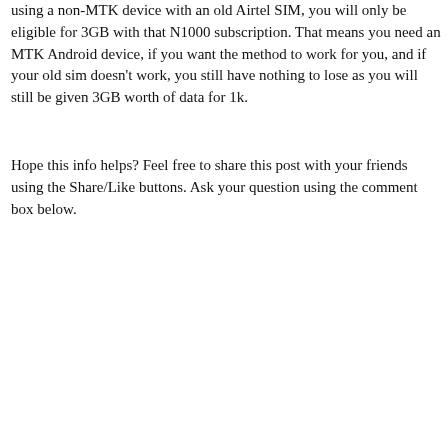using a non-MTK device with an old Airtel SIM, you will only be eligible for 3GB with that N1000 subscription. That means you need an MTK Android device, if you want the method to work for you, and if your old sim doesn't work, you still have nothing to lose as you will still be given 3GB worth of data for 1k.
Hope this info helps? Feel free to share this post with your friends using the Share/Like buttons. Ask your question using the comment box below.